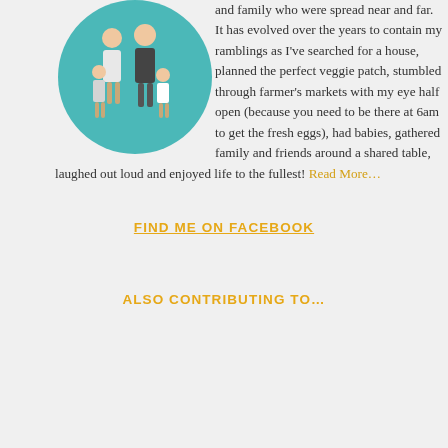[Figure (illustration): Circular teal illustration showing a family of four (two adults and two children) standing together]
and family who were spread near and far. It has evolved over the years to contain my ramblings as I've searched for a house, planned the perfect veggie patch, stumbled through farmer's markets with my eye half open (because you need to be there at 6am to get the fresh eggs), had babies, gathered family and friends around a shared table, laughed out loud and enjoyed life to the fullest! Read More…
FIND ME ON FACEBOOK
ALSO CONTRIBUTING TO…